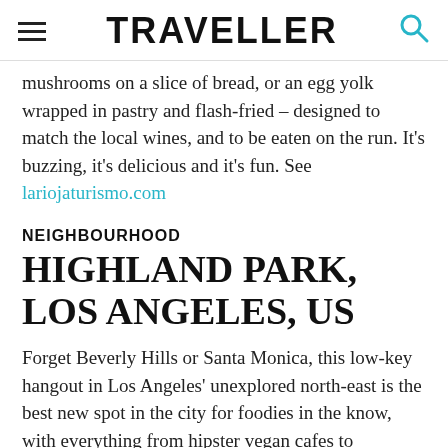TRAVELLER
mushrooms on a slice of bread, or an egg yolk wrapped in pastry and flash-fried – designed to match the local wines, and to be eaten on the run. It's buzzing, it's delicious and it's fun. See lariojaturismo.com
NEIGHBOURHOOD
HIGHLAND PARK, LOS ANGELES, US
Forget Beverly Hills or Santa Monica, this low-key hangout in Los Angeles' unexplored north-east is the best new spot in the city for foodies in the know, with everything from hipster vegan cafes to
SHARE